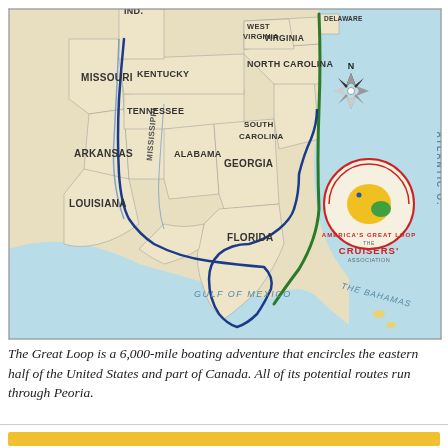[Figure (map): A map showing America's Great Loop route, a 6,000-mile boating path encircling the eastern half of the United States. The map shows states including Missouri, Arkansas, Louisiana, Kentucky, Tennessee, Mississippi, Alabama, Georgia, West Virginia, Virginia, North Carolina, South Carolina, Florida, and the Atlantic Ocean coast. The route is shown as a blue line tracing rivers and coastal waterways. A compass rose and America's Great Loop Cruisers' Association logo are shown in the lower right. The Gulf of Mexico and The Bahamas are also labeled.]
The Great Loop is a 6,000-mile boating adventure that encircles the eastern half of the United States and part of Canada. All of its potential routes run through Peoria.